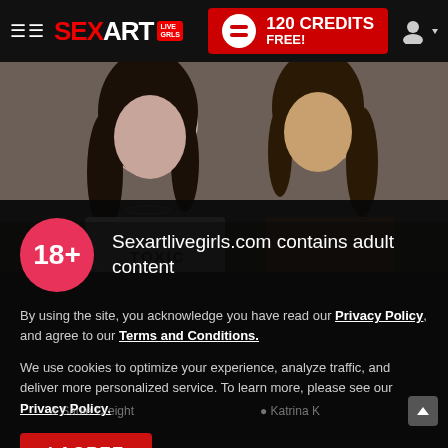≡≡ SEXART LIVE GIRLS | 120 CREDITS FREE!
[Figure (photo): Two young women posing close together, one wearing a white TOXIC t-shirt, the other with long dark hair, against a neutral background]
Sexartlivegirls.com contains adult content
By using the site, you acknowledge you have read our Privacy Policy, and agree to our Terms and Conditions.
We use cookies to optimize your experience, analyze traffic, and deliver more personalized service. To learn more, please see our Privacy Policy.
I AGREE